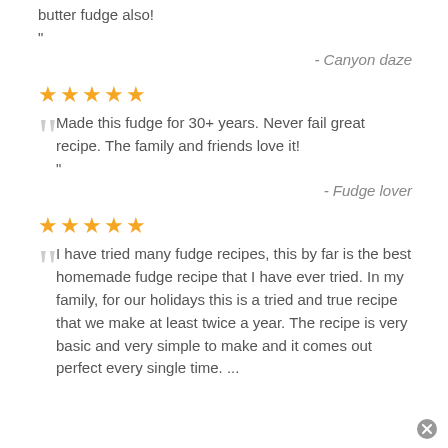butter fudge also!
"
- Canyon daze
[Figure (other): 5 gold stars rating]
Made this fudge for 30+ years. Never fail great recipe. The family and friends love it!
"
- Fudge lover
[Figure (other): 5 gold stars rating]
I have tried many fudge recipes, this by far is the best homemade fudge recipe that I have ever tried. In my family, for our holidays this is a tried and true recipe that we make at least twice a year. The recipe is very basic and very simple to make and it comes out perfect every single time. ...